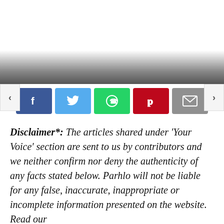[Figure (screenshot): Top image area fading to dark gray gradient at bottom]
[Figure (infographic): Social share buttons row: Facebook (blue, f icon), Twitter (light blue, bird icon), WhatsApp (green, phone icon), Pinterest (red, p icon), Email (gray, envelope icon), with left and right navigation arrows on sides]
Disclaimer*: The articles shared under 'Your Voice' section are sent to us by contributors and we neither confirm nor deny the authenticity of any facts stated below. Parhlo will not be liable for any false, inaccurate, inappropriate or incomplete information presented on the website. Read our